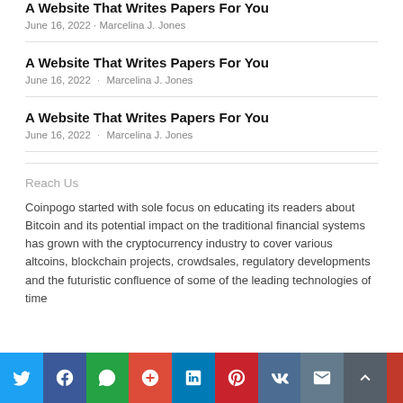A Website That Writes Papers For You
June 16, 2022 · Marcelina J. Jones
A Website That Writes Papers For You
June 16, 2022 · Marcelina J. Jones
A Website That Writes Papers For You
June 16, 2022 · Marcelina J. Jones
Reach Us
Coinpogo started with sole focus on educating its readers about Bitcoin and its potential impact on the traditional financial systems has grown with the cryptocurrency industry to cover various altcoins, blockchain projects, crowdsales, regulatory developments and the futuristic confluence of some of the leading technologies of time